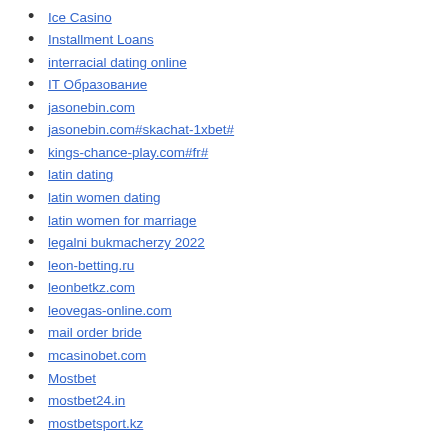Ice Casino
Installment Loans
interracial dating online
IT Образование
jasonebin.com
jasonebin.com#skachat-1xbet#
kings-chance-play.com#fr#
latin dating
latin women dating
latin women for marriage
legalni bukmacherzy 2022
leon-betting.ru
leonbetkz.com
leovegas-online.com
mail order bride
mcasinobet.com
Mostbet
mostbet24.in
mostbetsport.kz